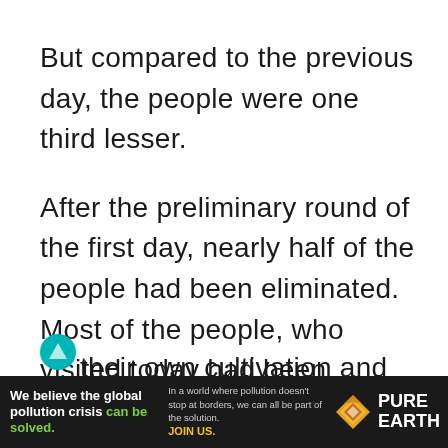But compared to the previous day, the people were one third lesser.
After the preliminary round of the first day, nearly half of the people had been eliminated. Most of the people, who visited today had been eliminated yesterday, were just here to watch the matches.
After all, being able to see such high-level battles, it would also be of great help to their own cultivation and combat
[Figure (other): Pure Earth advertisement banner: 'We believe the global pollution crisis can be solved. In a world where pollution doesn't stop at borders, we can all be part of the solution. JOIN US.' with Pure Earth logo.]